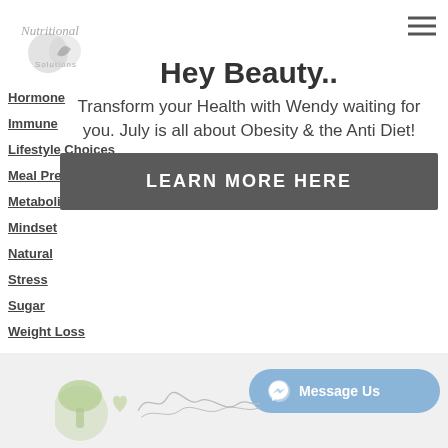[Figure (logo): Nutritional Solutions logo with cursive text]
Hormone
Immune
Lifestyle Choices
Meal Prep
Metabolism
Mindset
Natural
Stress
Sugar
Weight Loss
RSS Feed
Hey Beauty..
Transform your Health with Wendy waiting for you. July is all about Obesity & the Anti Diet!
LEARN MORE HERE
[Figure (other): Message Us messenger chat button]
[Figure (illustration): Cursive signature and mushroom illustration at bottom]